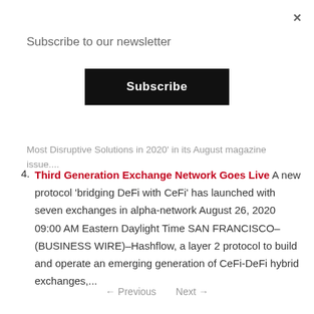×
Subscribe to our newsletter
Subscribe
Most Disruptive Solutions in 2020' in its August magazine issue....
4. Third Generation Exchange Network Goes Live A new protocol 'bridging DeFi with CeFi' has launched with seven exchanges in alpha-network August 26, 2020 09:00 AM Eastern Daylight Time SAN FRANCISCO–(BUSINESS WIRE)–Hashflow, a layer 2 protocol to build and operate an emerging generation of CeFi-DeFi hybrid exchanges,...
← Previous   Next →